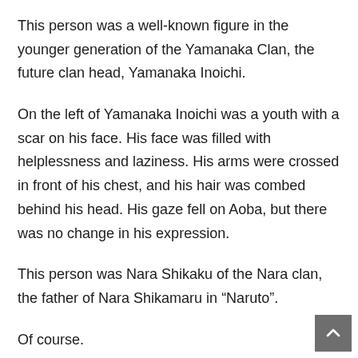This person was a well-known figure in the younger generation of the Yamanaka Clan, the future clan head, Yamanaka Inoichi.
On the left of Yamanaka Inoichi was a youth with a scar on his face. His face was filled with helplessness and laziness. His arms were crossed in front of his chest, and his hair was combed behind his head. His gaze fell on Aoba, but there was no change in his expression.
This person was Nara Shikaku of the Nara clan, the father of Nara Shikamaru in “Naruto”.
Of course.
The current Nara Shikaku not only has no Shikamaru, but